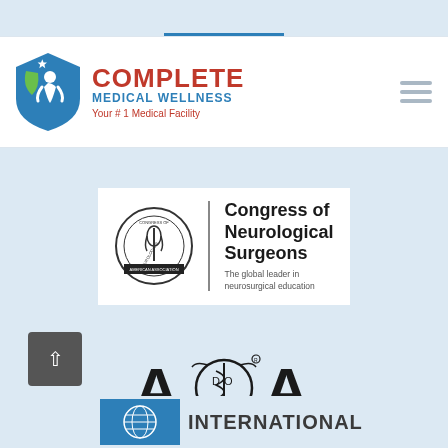[Figure (logo): Complete Medical Wellness logo with shield icon, company name in red and blue, tagline 'Your #1 Medical Facility']
[Figure (logo): Congress of Neurological Surgeons logo with seal and text: 'Congress of Neurological Surgeons - The global leader in neurosurgical education']
[Figure (logo): American Osteopathic Association (AOA) logo with text 'AMERICAN OSTEOPATHIC ASSOCIATION' and 'TREATING OUR FAMILY AND YOURS']
[Figure (logo): Partial International organization logo at bottom of page]